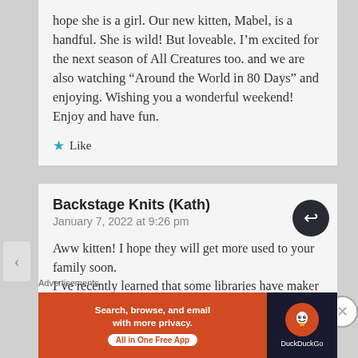hope she is a girl. Our new kitten, Mabel, is a handful. She is wild! But loveable. I’m excited for the next season of All Creatures too. and we are also watching “Around the World in 80 Days” and enjoying. Wishing you a wonderful weekend! Enjoy and have fun.
★ Like
Backstage Knits (Kath)
January 7, 2022 at 9:26 pm
Aww kitten! I hope they will get more used to your family soon.
I’ve recently learned that some libraries have maker spaces with sewing machines or long
Advertisements
[Figure (infographic): DuckDuckGo advertisement banner: orange left section with text 'Search, browse, and email with more privacy. All in One Free App', dark right section with DuckDuckGo logo]